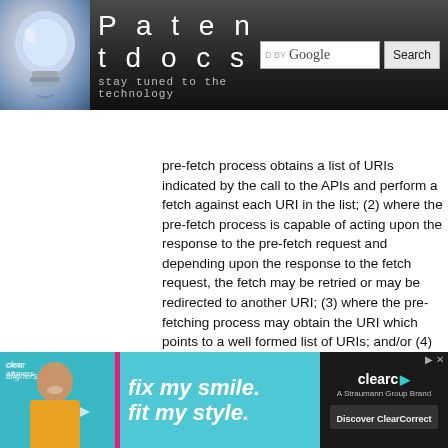Patentdocs — stay tuned to the technology
Inventors list   Assignees list   Classification tree browser
pre-fetch process obtains a list of URIs indicated by the call to the APIs and perform a fetch against each URI in the list; (2) where the pre-fetch process is capable of acting upon the response to the pre-fetch request and depending upon the response to the fetch request, the fetch may be retried or may be redirected to another URI; (3) where the pre-fetching process may obtain the URI which points to a well formed list of URIs; and/or (4) where an application indicates to the operating system how to interpret application specific data returned from the service to determine the set of pre-fetch URIs. This list may be obtained by making a request to the URI and upon successful response the list format is verified. Once verified, the URIs indicated in the list are themselves fetched. Again, the pre-fetch process may be capable of acting upon the
[Figure (photo): Advertisement banner for ClearCorrect clear aligners showing a smiling person with text 'fix my smile. fit my style.' and 'Discover ClearCorrect']